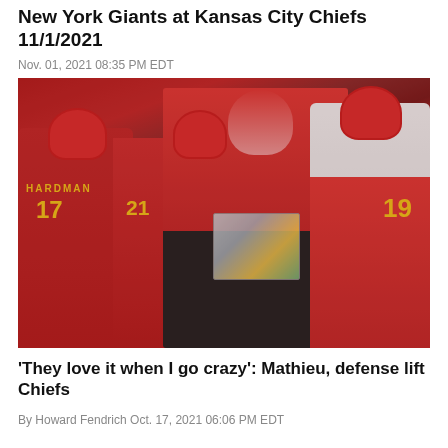New York Giants at Kansas City Chiefs 11/1/2021
Nov. 01, 2021 08:35 PM EDT
[Figure (photo): Kansas City Chiefs head coach Andy Reid wearing red headset and red polo shirt holding a laminated play sheet, surrounded by players in red Chiefs uniforms including #17 Hardman on the left and #19 on the right, on the sideline during a game.]
'They love it when I go crazy': Mathieu, defense lift Chiefs
By Howard Fendrich Oct. 17, 2021 06:06 PM EDT